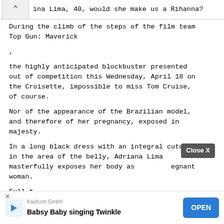ina Lima, 40, would she make us a Rihanna?
During the climb of the steps of the film team Top Gun: Maverick
,
the highly anticipated blockbuster presented out of competition this Wednesday, April 18 on the Croisette, impossible to miss Tom Cruise, of course.
Nor of the appearance of the Brazilian model, and therefore of her pregnancy, exposed in majesty.
In a long black dress with an integral cutout in the area of the belly, Adriana Lima masterfully exposes her body as pregnant woman.
Full t
[Figure (screenshot): Mobile advertisement banner: Kaufcom GmbH - Babsy Baby singing Twinkle with OPEN button and Close X overlay button]